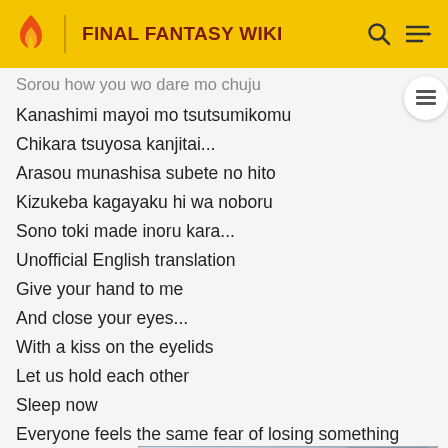FINAL FANTASY WIKI
Kanashimi mayoi mo tsutsumikomu
Chikara tsuyosa kanjitai...
Arasou munashisa subete no hito
Kizukeba kagayaku hi wa noboru
Sono toki made inoru kara...
Unofficial English translation
Give your hand to me
And close your eyes...
With a kiss on the eyelids
Let us hold each other
Sleep now
Everyone feels the same fear of losing something
Wrap up the sadness and the feeling of having lost our way